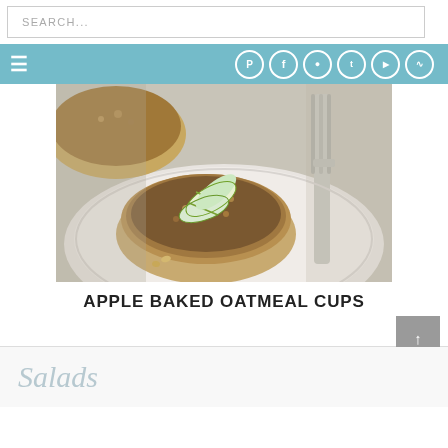SEARCH...
[Figure (screenshot): Website navigation bar with hamburger menu icon on left and social media icons (Pinterest, Facebook, Instagram, Twitter, YouTube, RSS) on right, on teal/blue background]
[Figure (photo): Apple baked oatmeal cups on a white plate with a fork, topped with thin green apple slices]
APPLE BAKED OATMEAL CUPS
[Figure (screenshot): Cursive 'Salads' text in light blue-gray at bottom of page]